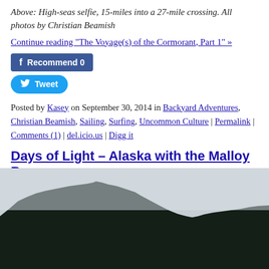Above: High-seas selfie, 15-miles into a 27-mile crossing. All photos by Christian Beamish
Continue reading "The Voyage(s) of the Cormorant, Part 1" »
[Figure (other): Facebook Recommend 0 button and Twitter Tweet button]
Posted by Kasey on September 30, 2014 in Backyard Adventures, Christian Beamish, Sailing, Surfing, Uncommon Culture | Permalink | Comments (1) | del.icio.us | Digg it
Days of Light – Alaska with the Malloy Bros.
By Christian Beamish
[Figure (photo): Photo of a dark forested mountain ridge (tall evergreen trees) against a pale grey sky, viewed from water level]